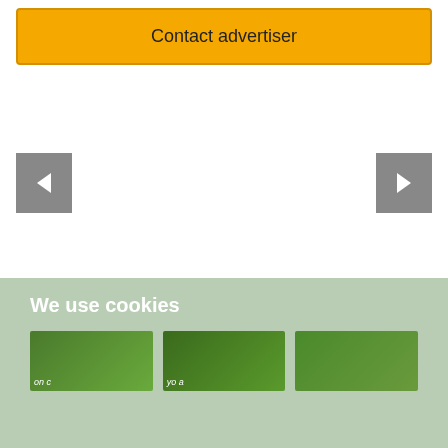Contact advertiser
[Figure (other): Carousel navigation area with left and right grey arrow buttons on white background]
We use cookies
[Figure (photo): Three green thumbnail images at the bottom of the cookies section]